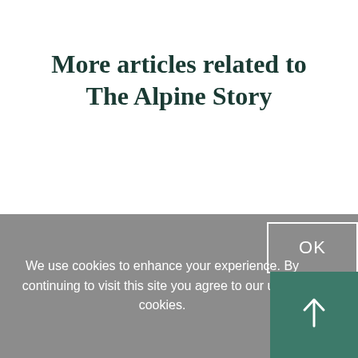More articles related to The Alpine Story
We use cookies to enhance your experience. By continuing to visit this site you agree to our use of cookies.